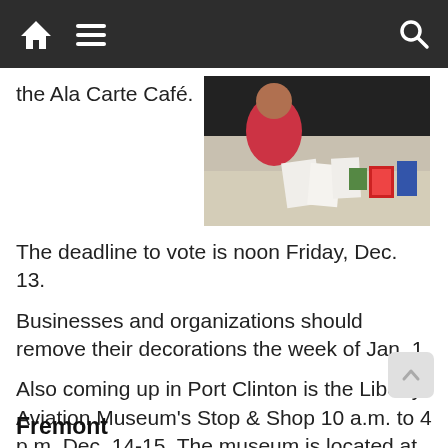[navigation bar with home, menu, and search icons]
the Ala Carte Café.
[Figure (photo): A child sitting at a table with papers, cards, and holiday items in front of them.]
The deadline to vote is noon Friday, Dec. 13.
Businesses and organizations should remove their decorations the week of Jan. 1.
Also coming up in Port Clinton is the Liberty Aviation Museum's Stop & Shop 10 a.m. to 4 p.m. Dec. 14-15. The museum is located at 3515 E. State Road, Port Clinton, and will showcase a variety of local crafters and vendors.
Fremont